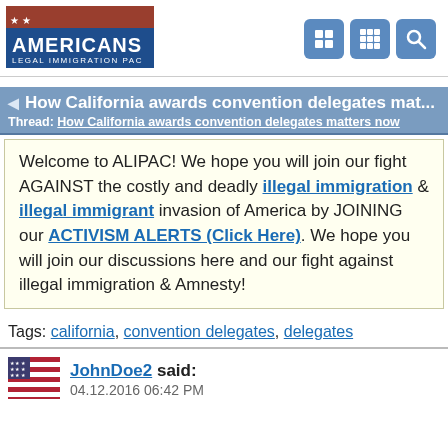[Figure (logo): Americans Legal Immigration PAC logo with blue background, stars and stripes imagery]
◄ How California awards convention delegates mat...
Thread: How California awards convention delegates matters now
Welcome to ALIPAC! We hope you will join our fight AGAINST the costly and deadly illegal immigration & illegal immigrant invasion of America by JOINING our ACTIVISM ALERTS (Click Here). We hope you will join our discussions here and our fight against illegal immigration & Amnesty!
Tags: california, convention delegates, delegates
JohnDoe2 said: 04.12.2016 06:42 PM